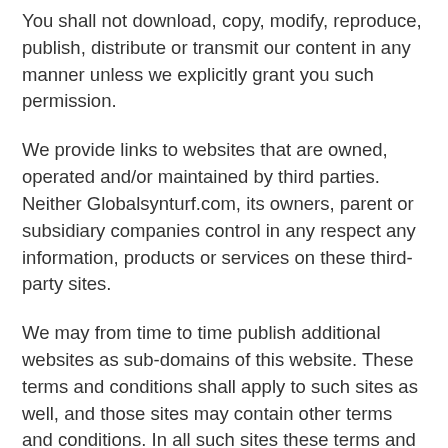You shall not download, copy, modify, reproduce, publish, distribute or transmit our content in any manner unless we explicitly grant you such permission.
We provide links to websites that are owned, operated and/or maintained by third parties. Neither Globalsynturf.com, its owners, parent or subsidiary companies control in any respect any information, products or services on these third-party sites.
We may from time to time publish additional websites as sub-domains of this website. These terms and conditions shall apply to such sites as well, and those sites may contain other terms and conditions. In all such sites these terms and conditions shall apply in addition to any other terms